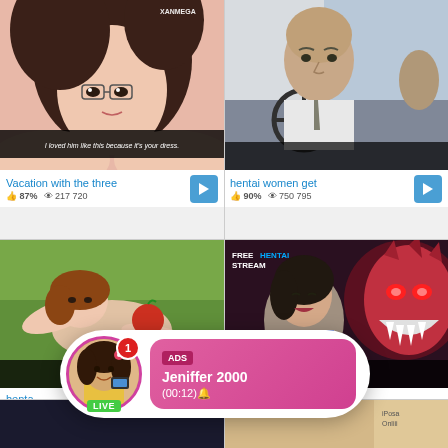[Figure (screenshot): Anime girl with glasses thumbnail, watermark XANMEGA, subtitle text 'I loved him like this because it's your dress']
Vacation with the three
87%  217 720
[Figure (screenshot): Anime man driving a car thumbnail]
hentai women get
90%  750 795
[Figure (screenshot): Anime scene on green background]
henta
85%
[Figure (screenshot): Anime monster/demon scene, watermark FREEHENTAI STREAM]
[Figure (screenshot): Dark bottom-left thumbnail]
[Figure (screenshot): Light colored bottom-right thumbnail]
[Figure (infographic): Ad popup: avatar of woman with LIVE badge, notification badge showing 1, pink content area showing ADS label, Jeniffer 2000, (00:12) with emoji]